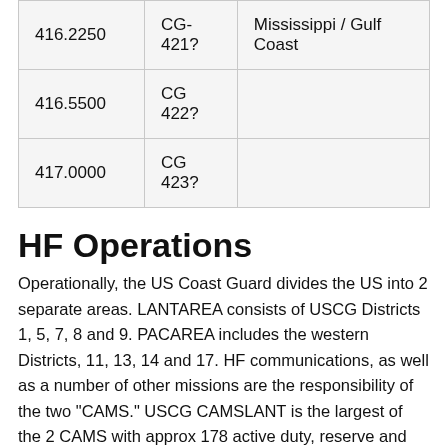| 416.2250 | CG-421? | Mississippi / Gulf Coast |
| 416.5500 | CG 422? |  |
| 417.0000 | CG 423? |  |
HF Operations
Operationally, the US Coast Guard divides the US into 2 separate areas. LANTAREA consists of USCG Districts 1, 5, 7, 8 and 9. PACAREA includes the western Districts, 11, 13, 14 and 17. HF communications, as well as a number of other missions are the responsibility of the two "CAMS." USCG CAMSLANT is the largest of the 2 CAMS with approx 178 active duty, reserve and auxiliary personnel